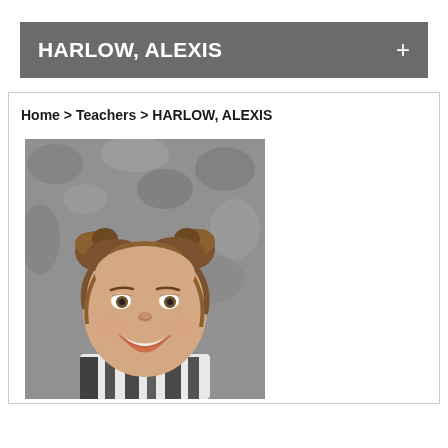HARLOW, ALEXIS
Home > Teachers > HARLOW, ALEXIS
[Figure (photo): Head and shoulders portrait photo of Alexis Harlow, a young woman with hair in two bun-style updo knots, smiling, wearing a black and white zebra print top, against a grey mottled background.]